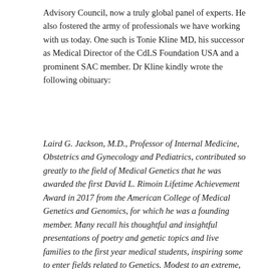Advisory Council, now a truly global panel of experts. He also fostered the army of professionals we have working with us today. One such is Tonie Kline MD, his successor as Medical Director of the CdLS Foundation USA and a prominent SAC member. Dr Kline kindly wrote the following obituary:
Laird G. Jackson, M.D., Professor of Internal Medicine, Obstetrics and Gynecology and Pediatrics, contributed so greatly to the field of Medical Genetics that he was awarded the first David L. Rimoin Lifetime Achievement Award in 2017 from the American College of Medical Genetics and Genomics, for which he was a founding member. Many recall his thoughtful and insightful presentations of poetry and genetic topics and live families to the first year medical students, inspiring some to enter fields related to Genetics. Modest to an extreme, he is best known for furthering the field of Cytogenetics, helping bring chorionic villous sampling